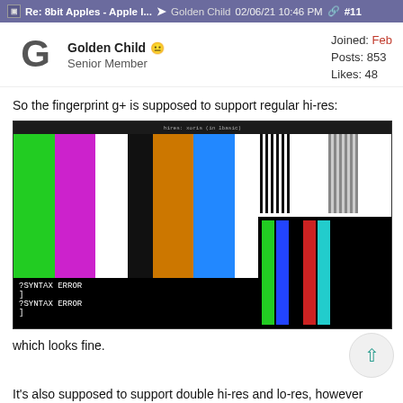Re: 8bit Apples - Apple I... → Golden Child 02/06/21 10:46 PM ↗ #11
Golden Child 😐 Senior Member
Joined: Feb
Posts: 853
Likes: 48
So the fingerprint g+ is supposed to support regular hi-res:
[Figure (screenshot): Screenshot of Apple II hi-res color bar test pattern showing vertical color bars (green, magenta, white, orange, blue, white) on the left side, vertical thin gray/black stripes in upper right, and colored bars (green, blue, black, red, cyan, black) in lower right. Text at bottom left reads '?SYNTAX ERROR' twice.]
which looks fine.
It's also supposed to support double hi-res and lo-res, however color 1